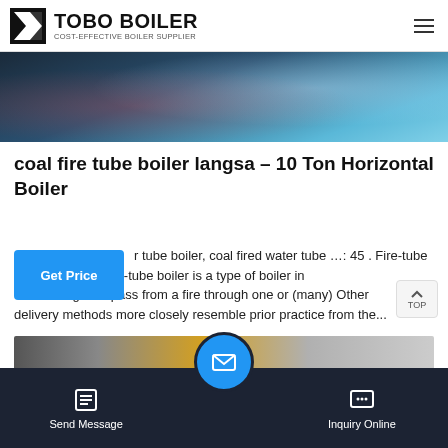TOBO BOILER — COST-EFFECTIVE BOILER SUPPLIER
[Figure (photo): Industrial boiler equipment on a blue-toned factory floor]
coal fire tube boiler langsa – 10 Ton Horizontal Boiler
r tube boiler, coal fired water tube …: 45 . Fire-tube edia. Liming · A fire-tube boiler is a type of boiler in which hot gases pass from a fire through one or (many) Other delivery methods more closely resemble prior practice from the...
[Figure (photo): Industrial horizontal boiler with orange pipes and equipment]
WhatsApp
Send Message | Inquiry Online